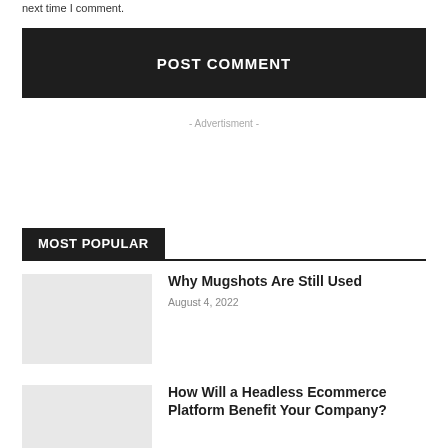next time I comment.
POST COMMENT
- Advertisment -
MOST POPULAR
Why Mugshots Are Still Used
August 4, 2022
How Will a Headless Ecommerce Platform Benefit Your Company?